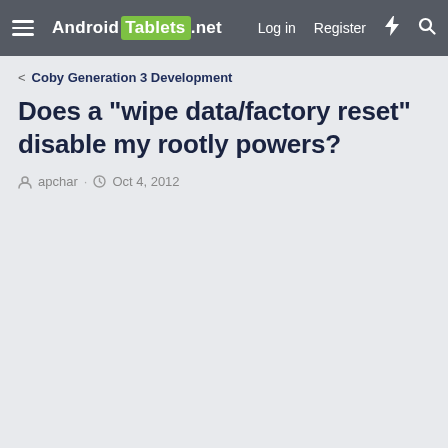Android Tablets .net  Log in  Register
Coby Generation 3 Development
Does a "wipe data/factory reset" disable my rootly powers?
apchar · Oct 4, 2012